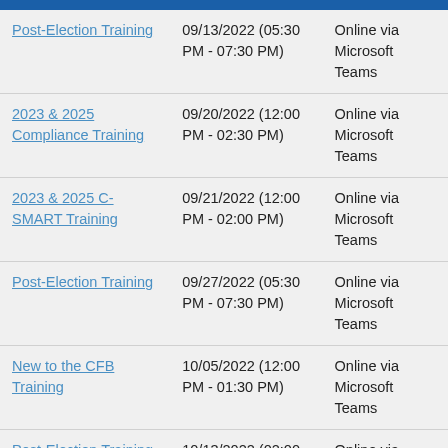| Event | Date/Time | Location |
| --- | --- | --- |
| Post-Election Training | 09/13/2022 (05:30 PM - 07:30 PM) | Online via Microsoft Teams |
| 2023 & 2025 Compliance Training | 09/20/2022 (12:00 PM - 02:30 PM) | Online via Microsoft Teams |
| 2023 & 2025 C-SMART Training | 09/21/2022 (12:00 PM - 02:00 PM) | Online via Microsoft Teams |
| Post-Election Training | 09/27/2022 (05:30 PM - 07:30 PM) | Online via Microsoft Teams |
| New to the CFB Training | 10/05/2022 (12:00 PM - 01:30 PM) | Online via Microsoft Teams |
| Post-Election Training | 10/13/2022 (02:00 PM - 04:00 PM) | Online via Microsoft Teams |
| 2023 & 2025 | 10/18/2022 (02:00 | Online via |